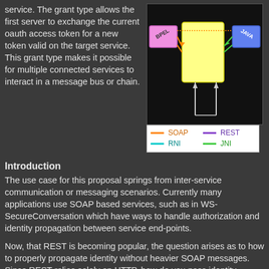service. The grant type allows the first server to exchange the current oauth access token for a new token valid on the target service. This grant type makes it possible for multiple connected services to interact in a message bus or chain.
[Figure (engineering-diagram): Network diagram on black background showing BPEL and JAVA nodes connected to a central yellow node, with colored arrows. Below the diagram is a legend showing SOAP (orange), REST (purple), RNI (cyan), JNI (green) connection types.]
Introduction
The use case for this proposal springs from inter-service communication or messaging scenarios. Currently many applications use SOAP based services, such as in WS-SecureConversation which have ways to handle authorization and identity propagation between service end-points.
Now, that REST is becoming popular, the question arises as to how to properly propagate identity without heavier SOAP messages. Since REST relies solely on HTTP, how do you pass identity assertions?